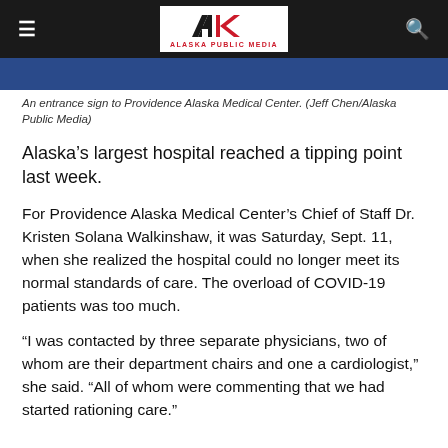Alaska Public Media navigation bar with logo
[Figure (photo): An entrance sign to Providence Alaska Medical Center, partial view showing blue background]
An entrance sign to Providence Alaska Medical Center. (Jeff Chen/Alaska Public Media)
Alaska’s largest hospital reached a tipping point last week.
For Providence Alaska Medical Center’s Chief of Staff Dr. Kristen Solana Walkinshaw, it was Saturday, Sept. 11, when she realized the hospital could no longer meet its normal standards of care. The overload of COVID-19 patients was too much.
“I was contacted by three separate physicians, two of whom are their department chairs and one a cardiologist,” she said. “All of whom were commenting that we had started rationing care.”